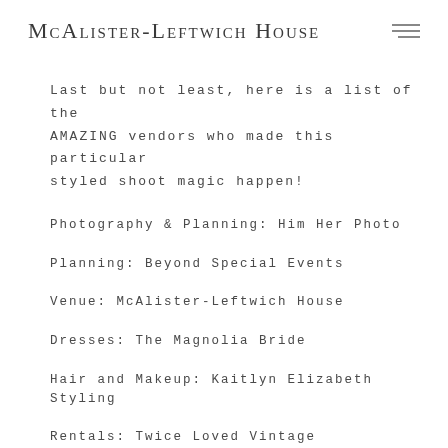McAlister-Leftwich House
Last but not least, here is a list of the AMAZING vendors who made this particular styled shoot magic happen!
Photography & Planning: Him Her Photo
Planning: Beyond Special Events
Venue: McAlister-Leftwich House
Dresses: The Magnolia Bride
Hair and Makeup: Kaitlyn Elizabeth Styling
Rentals: Twice Loved Vintage